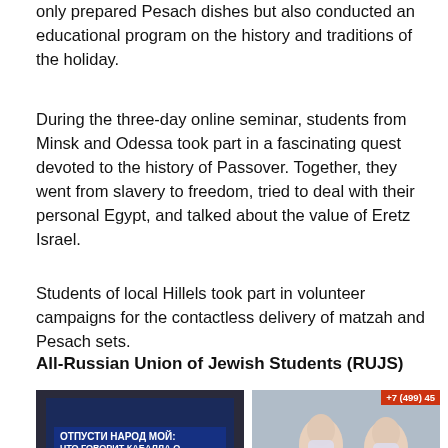only prepared Pesach dishes but also conducted an educational program on the history and traditions of the holiday.
During the three-day online seminar, students from Minsk and Odessa took part in a fascinating quest devoted to the history of Passover. Together, they went from slavery to freedom, tried to deal with their personal Egypt, and talked about the value of Eretz Israel.
Students of local Hillels took part in volunteer campaigns for the contactless delivery of matzah and Pesach sets.
All-Russian Union of Jewish Students (RUJS)
[Figure (photo): Two side-by-side photos. Left photo shows a dark background with a blue overlay box containing Cyrillic text: ОТПУСТИ НАРОД МОЙ: ЧТО ГОВОРИТ КАБАЛЛА О ПРАЗДНИКЕ ПЕСАХ И... Right photo shows people wearing face masks with a red banner in the top right corner showing +7 (499) 45...]